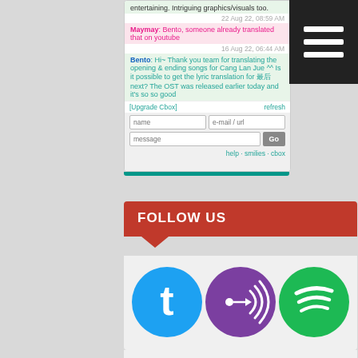[Figure (screenshot): Chat box interface showing messages from Maymay and Bento with timestamps, input fields for name, email/url, message, and a Go button. Links for help, smilies, cbox.]
FOLLOW US
[Figure (infographic): Three social media icon circles: Twitter (blue), RSS/podcast feed (purple), Spotify (green)]